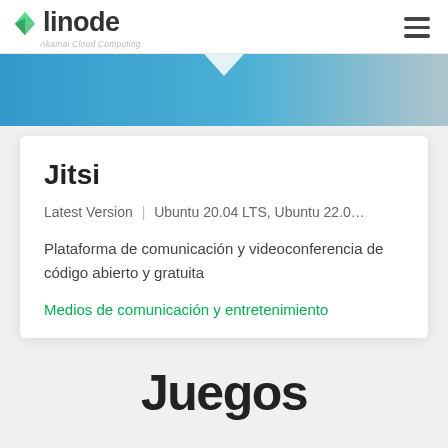linode — Akamai Cloud Computing
[Figure (illustration): Blue and grey gradient banner with a downward pointing arrow/chevron shape at the top center]
Jitsi
Latest Version  |  Ubuntu 20.04 LTS, Ubuntu 22.0…
Plataforma de comunicación y videoconferencia de código abierto y gratuita
Medios de comunicación y entretenimiento
Juegos